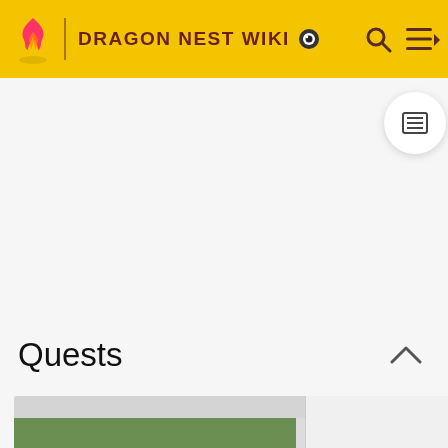DRAGON NEST WIKI
Quests
| Obtained From | Objective | Reward |
| --- | --- | --- |